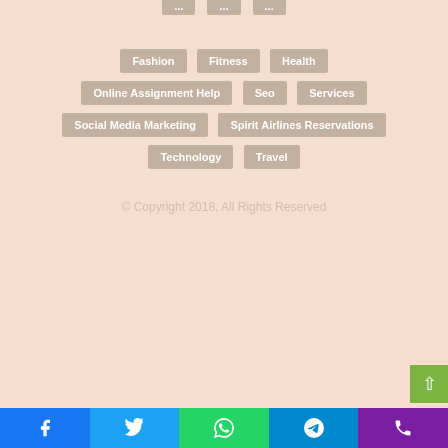Fashion
Fitness
Health
Online Assignment Help
Seo
Services
Social Media Marketing
Spirit Airlines Reservations
Technology
Travel
© Copyright 2018, All Rights Reserved